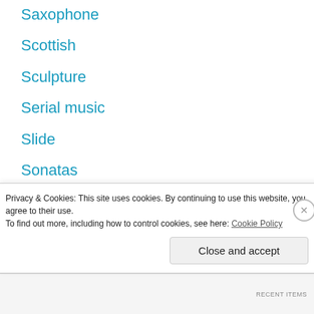Saxophone
Scottish
Sculpture
Serial music
Slide
Sonatas
song standards
Soul
Space rock
steel string acoustic
Privacy & Cookies: This site uses cookies. By continuing to use this website, you agree to their use.
To find out more, including how to control cookies, see here: Cookie Policy
Close and accept